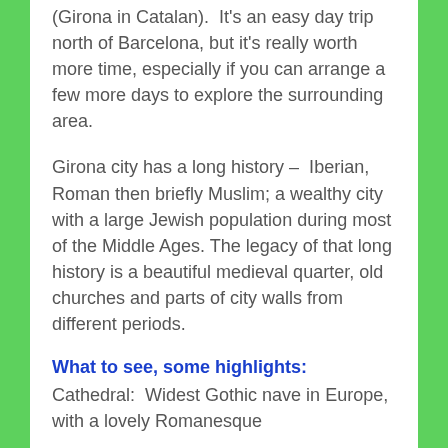(Girona in Catalan).  It's an easy day trip north of Barcelona, but it's really worth more time, especially if you can arrange a few more days to explore the surrounding area.
Girona city has a long history –  Iberian, Roman then briefly Muslim; a wealthy city with a large Jewish population during most of the Middle Ages. The legacy of that long history is a beautiful medieval quarter, old churches and parts of city walls from different periods.
What to see, some highlights:
Cathedral:  Widest Gothic nave in Europe, with a lovely Romanesque